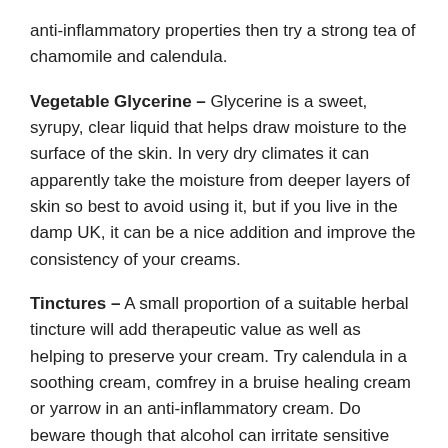anti-inflammatory properties then try a strong tea of chamomile and calendula.
Vegetable Glycerine – Glycerine is a sweet, syrupy, clear liquid that helps draw moisture to the surface of the skin. In very dry climates it can apparently take the moisture from deeper layers of skin so best to avoid using it, but if you live in the damp UK, it can be a nice addition and improve the consistency of your creams.
Tinctures – A small proportion of a suitable herbal tincture will add therapeutic value as well as helping to preserve your cream. Try calendula in a soothing cream, comfrey in a bruise healing cream or yarrow in an anti-inflammatory cream. Do beware though that alcohol can irritate sensitive skins.